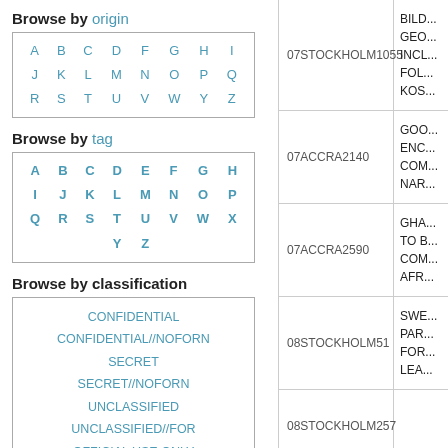Browse by origin
| A | B | C | D | F | G | H | I |
| J | K | L | M | N | O | P | Q |
| R | S | T | U | V | W | Y | Z |
Browse by tag
| A | B | C | D | E | F | G | H |
| I | J | K | L | M | N | O | P |
| Q | R | S | T | U | V | W | X |
|  |  |  | Y | Z |  |  |  |
Browse by classification
CONFIDENTIAL
CONFIDENTIAL//NOFORN
SECRET
SECRET//NOFORN
UNCLASSIFIED
UNCLASSIFIED//FOR
OFFICIAL USE ONLY
Community resources
Follow us on Twitter
Check our Reddit
| 07STOCKHOLM1055 | BILD...
GEO...
INCL...
FOL...
KOS... |
| 07ACCRA2140 | GOO...
ENC...
COM...
NAR... |
| 07ACCRA2590 | GHA...
TO B...
COM...
AFR... |
| 08STOCKHOLM51 | SWE...
PAR...
FOR...
LEA... |
| 08STOCKHOLM257 |  |